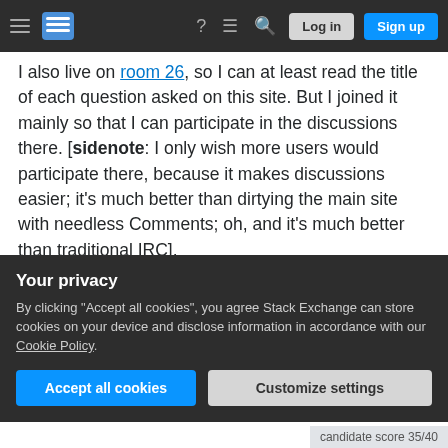Stack Exchange navigation bar with Log in and Sign up buttons
I also live on room 26, so I can at least read the title of each question asked on this site. But I joined it mainly so that I can participate in the discussions there. [sidenote: I only wish more users would participate there, because it makes discussions easier; it's much better than dirtying the main site with needless Comments; oh, and it's much better than traditional IRC].
There's at least one moderator tool I'd like to make use of, and that is viewing a list of suggested edits by low rep user. Well, unless that request is taken into consideration, I will have to wait until I have 10k rep to do
Your privacy
By clicking "Accept all cookies", you agree Stack Exchange can store cookies on your device and disclose information in accordance with our Cookie Policy.
Accept all cookies  Customize settings
candidate score 35/40